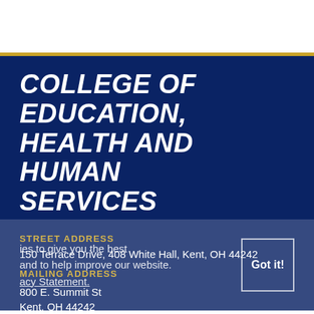COLLEGE OF EDUCATION, HEALTH AND HUMAN SERVICES
STREET ADDRESS
150 Terrace Drive, 408 White Hall, Kent, OH 44242
MAILING ADDRESS
800 E. Summit St
Kent, OH 44242
CONTACT US
uses cookies to give you the best experience and to help improve our website. KSU Privacy Statement.